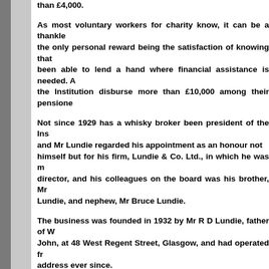than £4,000.
As most voluntary workers for charity know, it can be a thankless task, the only personal reward being the satisfaction of knowing that you have been able to lend a hand where financial assistance is needed. And seeing the Institution disburse more than £10,000 among their pensioners...
Not since 1929 has a whisky broker been president of the Institution, and Mr Lundie regarded his appointment as an honour not only for himself but for his firm, Lundie & Co. Ltd., in which he was managing director, and his colleagues on the board was his brother, Mr... Lundie, and nephew, Mr Bruce Lundie.
The business was founded in 1932 by Mr R D Lundie, father of W... John, at 48 West Regent Street, Glasgow, and had operated from that address ever since.
Distinguished after-dinner speakers were not particularly numerous, but Mr Lundie as president was able to call on the services of Sir... Gilchrist, chairman of the Highland and Islands Development B... to propose the principal toast, "Our Institution."
An innovation was a special toast, "Scotch Whisky." Mr T... Dobbs, the American Consul, came through from Edinburgh to propose it, and Mr John MacPhail, C.A., managing director of Robertson &... Ltd., Glasgow, who was recently given the O.B.E., replied.